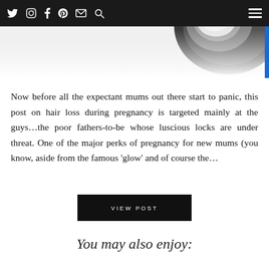Social media navigation bar with icons: Twitter, Instagram, Facebook, Pinterest, Email, Search, and hamburger menu
[Figure (photo): Partial view of a dark circular object (bowl or plate) on a light background, shown in the top-right corner of the page in black and white tones]
Now before all the expectant mums out there start to panic, this post on hair loss during pregnancy is targeted mainly at the guys…the poor fathers-to-be whose luscious locks are under threat. One of the major perks of pregnancy for new mums (you know, aside from the famous 'glow' and of course the…
VIEW POST
You may also enjoy: